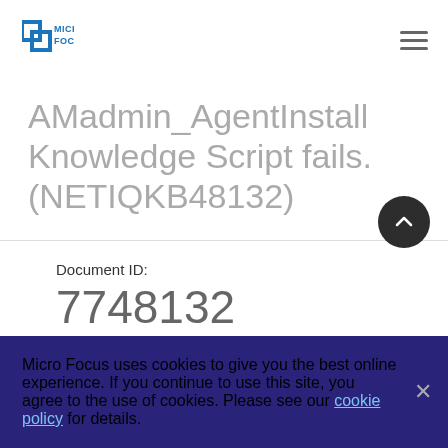[Figure (logo): Micro Focus logo — blue square icon with overlapping rectangles and 'MICRO FOCUS' text in blue]
AMadmin_AgentInstall Knowledge Script fails. (NETIQKB48132)
Document ID:
7748132
Micro Focus uses cookies to give you the best online experience. If you continue to use this site, you agree to the use of cookies. Please see our cookie policy for details.